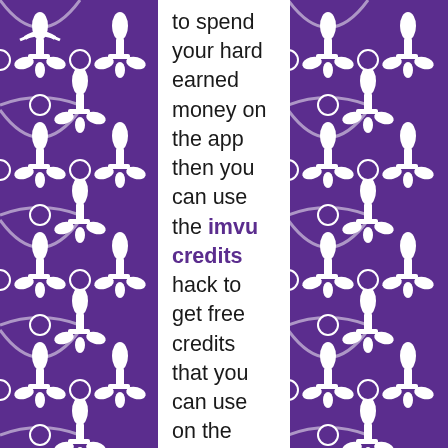[Figure (illustration): Purple fleur-de-lis decorative border pattern on left side]
[Figure (illustration): Purple fleur-de-lis decorative border pattern on right side]
to spend your hard earned money on the app then you can use the imvu credits hack to get free credits that you can use on the hack.